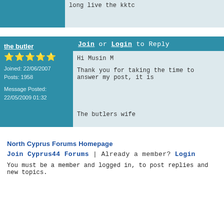long live the kktc
Join or Login to Reply
the butler
Joined: 22/06/2007
Posts: 1958
Message Posted: 22/05/2009 01:32
Hi Musin M

Thank you for taking the time to answer my post, it is

The butlers wife
North Cyprus Forums Homepage
Join Cyprus44 Forums | Already a member? Login
You must be a member and logged in, to post replies and new topics.